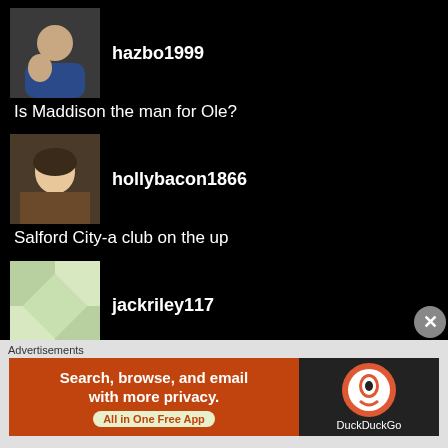hazbo1999 — Is Maddison the man for Ole?
hollybacon1866 — Salford City-a club on the up
jackriley117 — Should we have a winter break in England?
jacktowers96 — Analysis of the Championship Run-in
jakemathotreports — Bayern Munich & Liverpool: who needs defeat more?
Advertisements
[Figure (other): DuckDuckGo advertisement banner: Search, browse, and email with more privacy. All in One Free App]